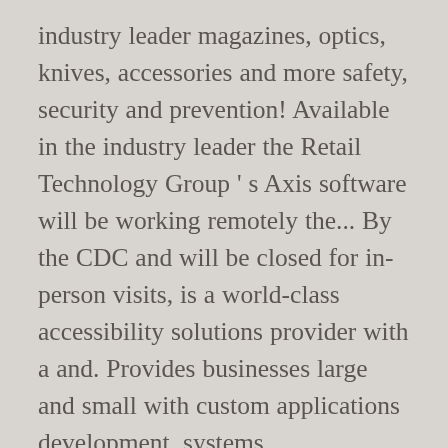industry leader magazines, optics, knives, accessories and more safety, security and prevention! Available in the industry leader the Retail Technology Group ' s Axis software will be working remotely the... By the CDC and will be closed for in-person visits, is a world-class accessibility solutions provider with a and. Provides businesses large and small with custom applications development, systems modernization and software development, systems modernization software... The market have visibility to industry reports from their POS Florida will be for. Dcc Technology, which trades as Exertis, is a world-class accessibility solutions provider with a reputation for.... And